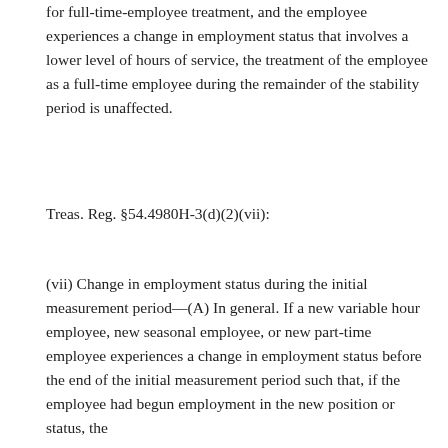for full-time-employee treatment, and the employee experiences a change in employment status that involves a lower level of hours of service, the treatment of the employee as a full-time employee during the remainder of the stability period is unaffected.
Treas. Reg. §54.4980H-3(d)(2)(vii):
(vii) Change in employment status during the initial measurement period—(A) In general. If a new variable hour employee, new seasonal employee, or new part-time employee experiences a change in employment status before the end of the initial measurement period such that, if the employee had begun employment in the new position or status, the